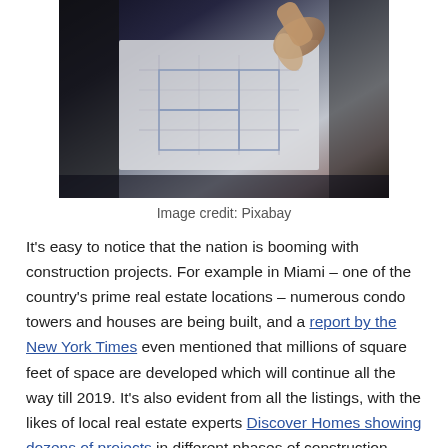[Figure (photo): A hand pointing at architectural blueprints or floor plans on a light box, photographed from above in dark tones.]
Image credit: Pixabay
It's easy to notice that the nation is booming with construction projects. For example in Miami – one of the country's prime real estate locations – numerous condo towers and houses are being built, and a report by the New York Times even mentioned that millions of square feet of space are developed which will continue all the way till 2019. It's also evident from all the listings, with the likes of local real estate experts Discover Homes showing dozens of projects in different phases of construction. And while Miami enjoys a real estate boom, it's just a small sample as the same thing can be said in many other parts of the US.